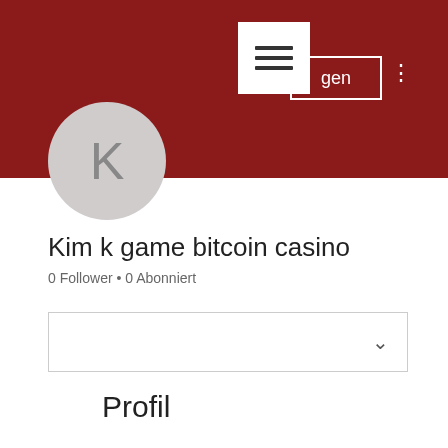[Figure (screenshot): Dark red header banner of a social/community profile page]
Kim k game bitcoin casino
0 Follower • 0 Abonniert
[Figure (other): Dropdown/selector box with chevron]
Profil
Beitrittsdatum: 16. Mai 2022
Info
Kim k game bitcoin casino